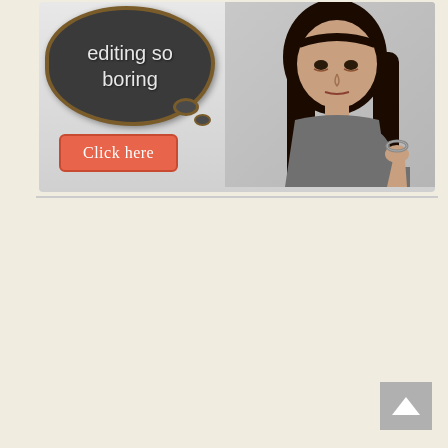[Figure (illustration): Advertisement banner showing a bored teenage girl resting her chin on her hand, with a chalkboard thought bubble saying 'editing so boring' and a coral-colored 'Click here' button below.]
[Figure (other): Gray back-to-top button with an upward-pointing chevron arrow in the bottom right corner of a cream-colored empty page area.]